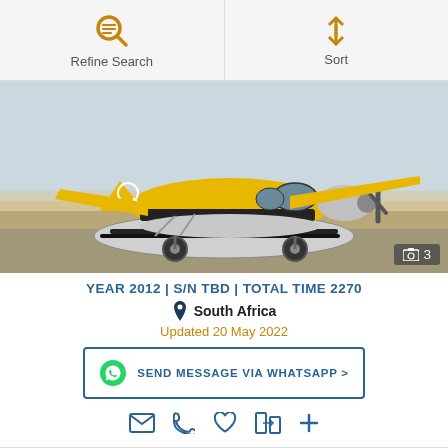Refine Search | Sort
[Figure (photo): Yellow and black amphibious aircraft (Quest Kodiak-style seaplane) on a runway, with silver floats and a Q logo on the tail.]
YEAR 2012 | S/N TBD | TOTAL TIME 2270
South Africa
Updated 20 May 2022
SEND MESSAGE VIA WHATSAPP >